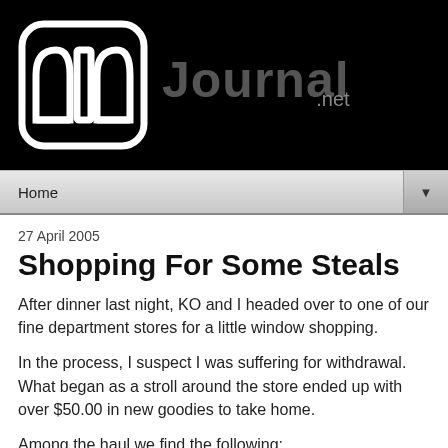[Figure (logo): COD Journal website header with black background, stylized COD logo icon on left and site name text with '.net' on right in dark gray]
Home ▼
27 April 2005
Shopping For Some Steals
After dinner last night, KO and I headed over to one of our fine department stores for a little window shopping.
In the process, I suspect I was suffering for withdrawal. What began as a stroll around the store ended up with over $50.00 in new goodies to take home.
Among the haul we find the following: